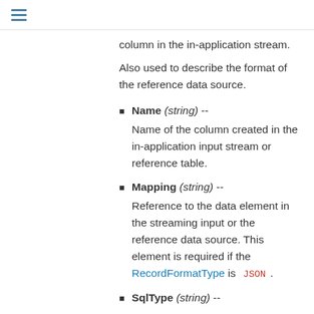☰
column in the in-application stream.
Also used to describe the format of the reference data source.
Name (string) -- Name of the column created in the in-application input stream or reference table.
Mapping (string) -- Reference to the data element in the streaming input or the reference data source. This element is required if the RecordFormatType is JSON .
SqlType (string) --